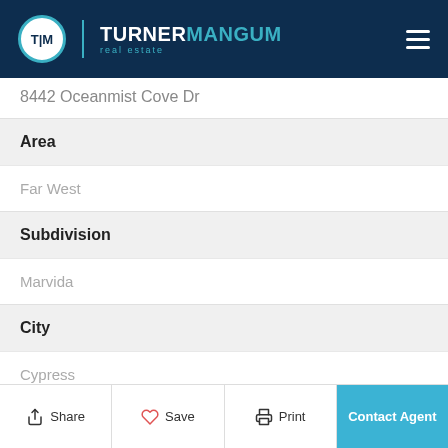TURNER MANGUM real estate
8442 Oceanmist Cove Dr
| Field | Value |
| --- | --- |
| Area | Far West |
| Subdivision | Marvida |
| City | Cypress |
| County |  |
Share | Save | Print | Contact Agent